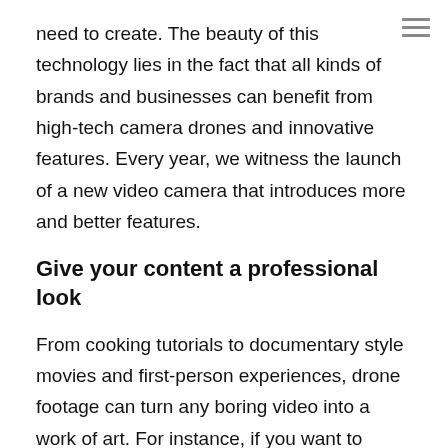need to create. The beauty of this technology lies in the fact that all kinds of brands and businesses can benefit from high-tech camera drones and innovative features. Every year, we witness the launch of a new video camera that introduces more and better features.
Give your content a professional look
From cooking tutorials to documentary style movies and first-person experiences, drone footage can turn any boring video into a work of art. For instance, if you want to promote a real estate company, you can shoot a few awesome drone videos to portray your best properties. In